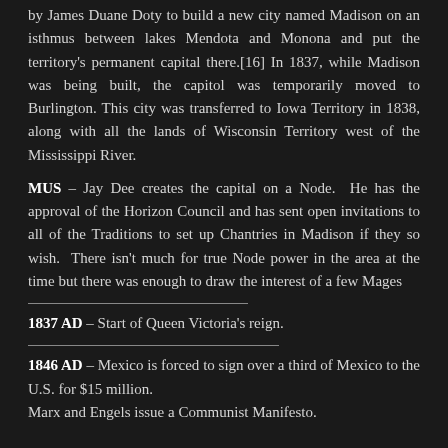by James Duane Doty to build a new city named Madison on an isthmus between lakes Mendota and Monona and put the territory's permanent capital there.[16] In 1837, while Madison was being built, the capitol was temporarily moved to Burlington. This city was transferred to Iowa Territory in 1838, along with all the lands of Wisconsin Territory west of the Mississippi River.
MUS – Jay Dee creates the capital on a Node. He has the approval of the Horizon Council and has sent open invitations to all of the Traditions to set up Chantries in Madison if they so wish. There isn't much for true Node power in the area at the time but there was enough to draw the interest of a few Mages
1837 AD – Start of Queen Victoria's reign.
1846 AD – Mexico is forced to sign over a third of Mexico to the U.S. for $15 million.
Marx and Engels issue a Communist Manifesto.